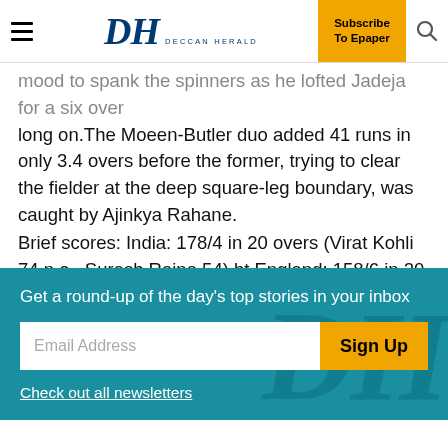DH DECCAN HERALD | Subscribe To Epaper
mood to spank the spinners as he lofted Jadeja for a six over long on.The Moeen-Butler duo added 41 runs in only 3.4 overs before the former, trying to clear the fielder at the deep square-leg boundary, was caught by Ajinkya Rahane.
Brief scores: India: 178/4 in 20 overs (Virat Kohli 74 n.o., Suresh Raina 54) bt England: 158/6 in 20 overs (Michael Lumb 36, Moeen Ali 46, Jos Buttler 30; Ravindra Jadeja 2-23).
Get a round-up of the day's top stories in your inbox
Email Address
Sign Up
Check out all newsletters